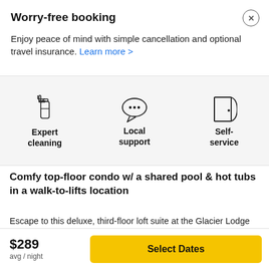Worry-free booking
Enjoy peace of mind with simple cancellation and optional travel insurance. Learn more >
[Figure (infographic): Three icons in a grey panel: a spray bottle labeled 'Expert cleaning', a chat bubble labeled 'Local support', and a door labeled 'Self-service']
Comfy top-floor condo w/ a shared pool & hot tubs in a walk-to-lifts location
Escape to this deluxe, third-floor loft suite at the Glacier Lodge Boutique Hotel in Whistler. Perfect for families or
$289
avg / night
Select Dates